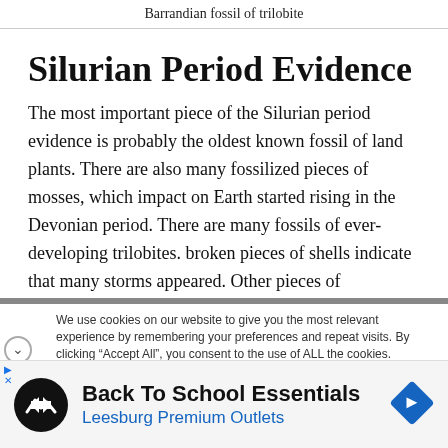Barrandian fossil of trilobite
Silurian Period Evidence
The most important piece of the Silurian period evidence is probably the oldest known fossil of land plants. There are also many fossilized pieces of mosses, which impact on Earth started rising in the Devonian period. There are many fossils of ever-developing trilobites. broken pieces of shells indicate that many storms appeared. Other pieces of
We use cookies on our website to give you the most relevant experience by remembering your preferences and repeat visits. By clicking “Accept All”, you consent to the use of ALL the cookies. However, you may visit “Cookie Settings” to provide a controlled
Back To School Essentials
Leesburg Premium Outlets